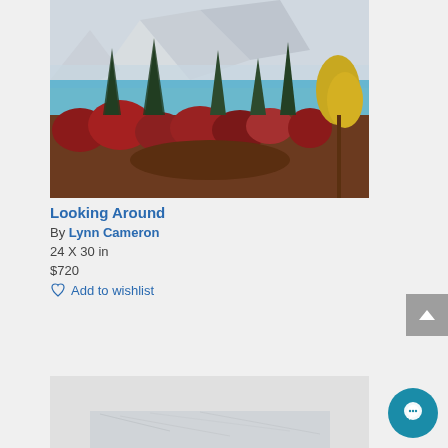[Figure (photo): Painting of a mountain landscape with a lake, autumn trees including red, orange, and yellow foliage, and snow-capped mountains in the background with mist.]
Looking Around
By Lynn Cameron
24 X 30 in
$720
Add to wishlist
[Figure (photo): Bottom portion of a second artwork listing showing a marble or stone surface painting, partially visible.]